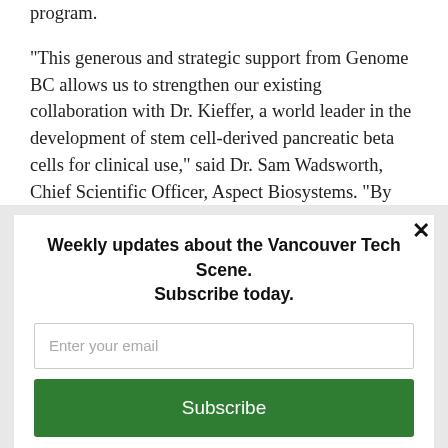program.
“This generous and strategic support from Genome BC allows us to strengthen our existing collaboration with Dr. Kieffer, a world leader in the development of stem cell-derived pancreatic beta cells for clinical use,” said Dr. Sam Wadsworth, Chief Scientific Officer, Aspect Biosystems. “By working
Weekly updates about the Vancouver Tech Scene.
Subscribe today.
Enter your email
Subscribe
powered by MailMunch